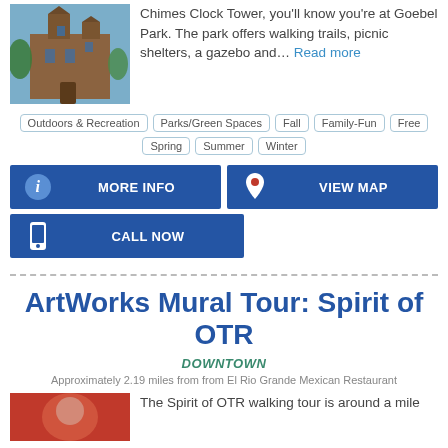[Figure (photo): Photo of a historic brick clock tower building against a blue sky with trees]
Chimes Clock Tower, you'll know you're at Goebel Park. The park offers walking trails, picnic shelters, a gazebo and... Read more
Outdoors & Recreation
Parks/Green Spaces
Fall
Family-Fun
Free
Spring
Summer
Winter
MORE INFO
VIEW MAP
CALL NOW
ArtWorks Mural Tour: Spirit of OTR
DOWNTOWN
Approximately 2.19 miles from from El Rio Grande Mexican Restaurant
[Figure (photo): Partial photo with red/orange tones, bottom of page]
The Spirit of OTR walking tour is around a mile